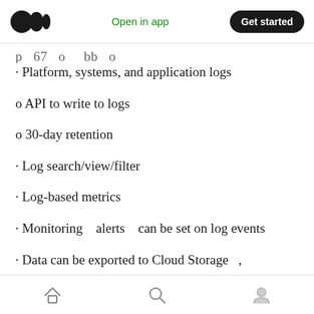Open in app | Get started
p 67 o bb o
· Platform, systems, and application logs
o API to write to logs
o 30-day retention
· Log search/view/filter
· Log-based metrics
· Monitoring   alerts   can be set on log events
· Data can be exported to Cloud Storage   ,
Home | Search | Profile